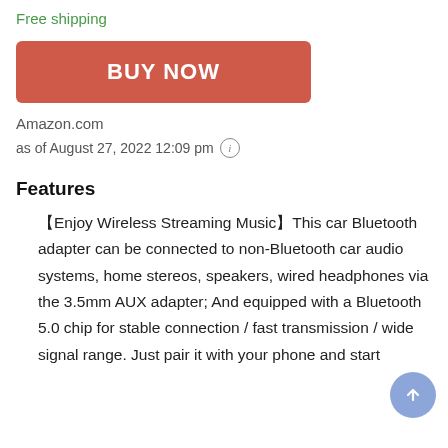Free shipping
BUY NOW
Amazon.com
as of August 27, 2022 12:09 pm ℹ
Features
【Enjoy Wireless Streaming Music】This car Bluetooth adapter can be connected to non-Bluetooth car audio systems, home stereos, speakers, wired headphones via the 3.5mm AUX adapter; And equipped with a Bluetooth 5.0 chip for stable connection / fast transmission / wide signal range. Just pair it with your phone and start